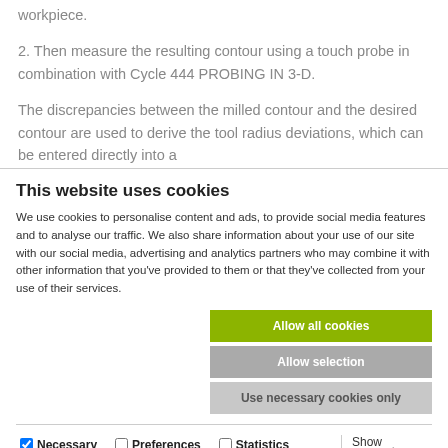workpiece.
2. Then measure the resulting contour using a touch probe in combination with Cycle 444 PROBING IN 3-D.
The discrepancies between the milled contour and the desired contour are used to derive the tool radius deviations, which can be entered directly into a
This website uses cookies
We use cookies to personalise content and ads, to provide social media features and to analyse our traffic. We also share information about your use of our site with our social media, advertising and analytics partners who may combine it with other information that you've provided to them or that they've collected from your use of their services.
Allow all cookies
Allow selection
Use necessary cookies only
Necessary  Preferences  Statistics  Marketing  Show details